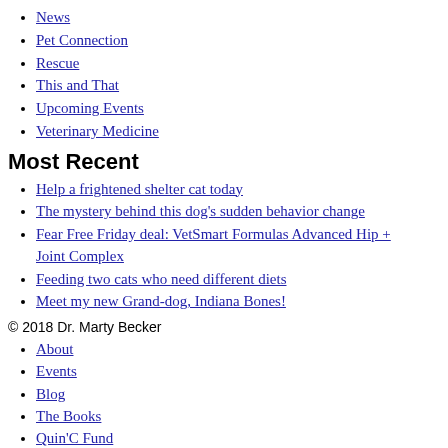News
Pet Connection
Rescue
This and That
Upcoming Events
Veterinary Medicine
Most Recent
Help a frightened shelter cat today
The mystery behind this dog’s sudden behavior change
Fear Free Friday deal: VetSmart Formulas Advanced Hip + Joint Complex
Feeding two cats who need different diets
Meet my new Grand-dog, Indiana Bones!
© 2018 Dr. Marty Becker
About
Events
Blog
The Books
Quin'C Fund
Contact